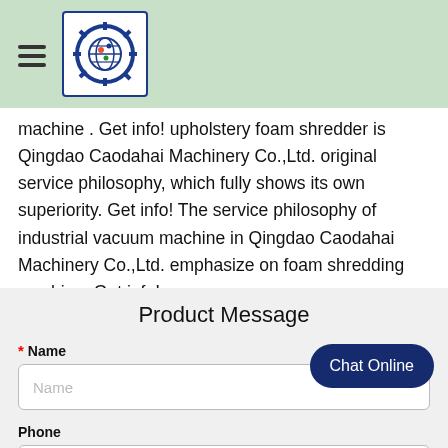[Hamburger menu icon] [Company logo - gear/globe icon]
machine . Get info! upholstery foam shredder is Qingdao Caodahai Machinery Co.,Ltd. original service philosophy, which fully shows its own superiority. Get info! The service philosophy of industrial vacuum machine in Qingdao Caodahai Machinery Co.,Ltd. emphasize on foam shredding machine. Get info!
Product Message
* Name
Phone
* E-mail